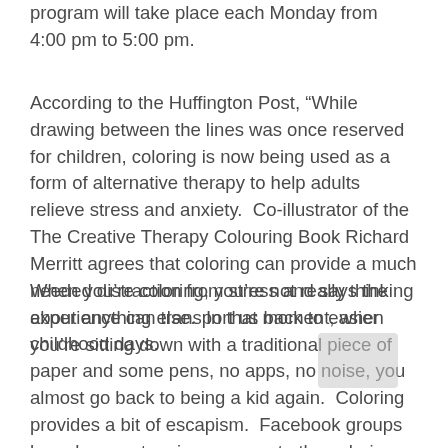program will take place each Monday from 4:00 pm to 5:00 pm.
According to the Huffington Post, “While drawing between the lines was once reserved for children, coloring is now being used as a form of alternative therapy to help adults relieve stress and anxiety.  Co-illustrator of the The Creative Therapy Colouring Book Richard Merritt agrees that coloring can provide a much needed distraction from stress and says the experience can transport us back to easier childhood days.
When you’re coloring, you’re not really thinking about anything else.  In that moment, when you’re sitting down with a traditional piece of paper and some pens, no apps, no noise, you almost go back to being a kid again.  Coloring provides a bit of escapism.  Facebook groups have been set up in response to the coloring book trend with women (the gender predominantly taking part in the activity) coming together and sharing their stories